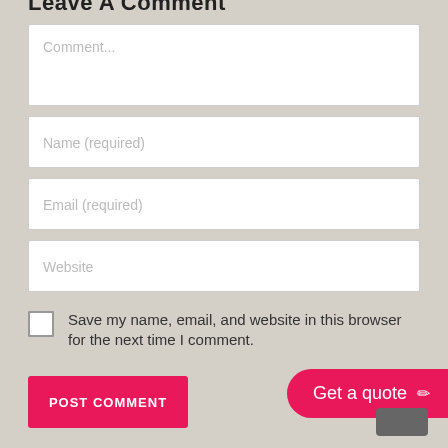Leave A Comment
Comment...
Name (required)
Email (required)
Website
Save my name, email, and website in this browser for the next time I comment.
POST COMMENT
Get a quote